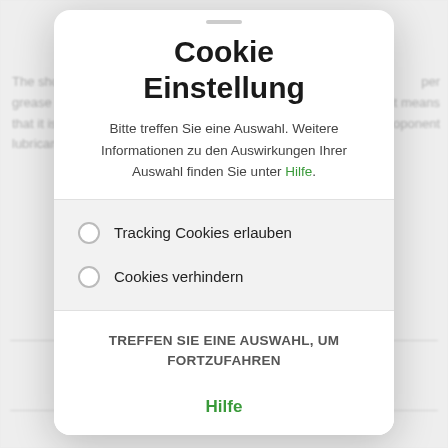[Figure (screenshot): Background page content with partially visible English text about grease/lubricants, dimmed behind a cookie consent modal dialog.]
Cookie Einstellung
Bitte treffen Sie eine Auswahl. Weitere Informationen zu den Auswirkungen Ihrer Auswahl finden Sie unter Hilfe.
Tracking Cookies erlauben
Cookies verhindern
TREFFEN SIE EINE AUSWAHL, UM FORTZUFAHREN
Hilfe